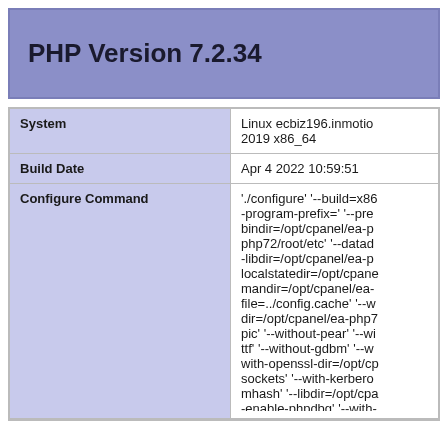PHP Version 7.2.34
| Field | Value |
| --- | --- |
| System | Linux ecbiz196.inmotio... 2019 x86_64 |
| Build Date | Apr 4 2022 10:59:51 |
| Configure Command | './configure' '--build=x86... --program-prefix=' '--pre... bindir=/opt/cpanel/ea-p... php72/root/etc' '--datad... -libdir=/opt/cpanel/ea-p... localstatedir=/opt/cpane... mandir=/opt/cpanel/ea-... file=../config.cache' '--w... dir=/opt/cpanel/ea-php7... pic' '--without-pear' '--wi... ttf' '--without-gdbm' '--w... with-openssl-dir=/opt/cp... sockets' '--with-kerbero... mhash' '--libdir=/opt/cpa... -enable-phpdbg' '--with-... enable-mbregex' '--with-... with-bz2=shared' '--ena... exif=shared' '--enable-f... tokenizer=shared' '--wit... mysqli=shared,mysqln... |